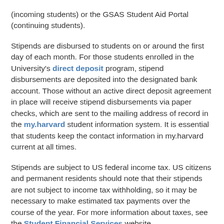(incoming students) or the GSAS Student Aid Portal (continuing students).
Stipends are disbursed to students on or around the first day of each month. For those students enrolled in the University's direct deposit program, stipend disbursements are deposited into the designated bank account. Those without an active direct deposit agreement in place will receive stipend disbursements via paper checks, which are sent to the mailing address of record in the my.harvard student information system. It is essential that students keep the contact information in my.harvard current at all times.
Stipends are subject to US federal income tax. US citizens and permanent residents should note that their stipends are not subject to income tax withholding, so it may be necessary to make estimated tax payments over the course of the year. For more information about taxes, see the Student Financial Services website.